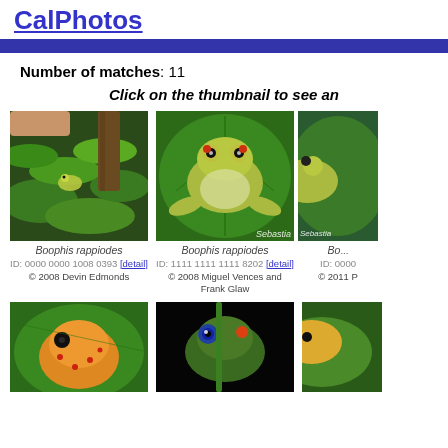CalPhotos
Number of matches: 11
Click on the thumbnail to see an
[Figure (photo): Frog Boophis rappiodes on green plant, hand visible. ID: 0000 0000 1008 0393. © 2008 Devin Edmonds.]
Boophis rappiodes
ID: 0000 0000 1008 0393 [detail]
© 2008 Devin Edmonds
[Figure (photo): Frog Boophis rappiodes on green leaf, top view. ID: 1111 1111 1111 8202. © 2008 Miguel Vences and Frank Glaw.]
Boophis rappiodes
ID: 1111 1111 1111 8202 [detail]
© 2008 Miguel Vences and Frank Glaw
[Figure (photo): Partial frog photo, Sebastian credit visible. ID: 0000. © 2011 P...]
Bo...
ID: 0000
© 2011 P
[Figure (photo): Close-up of frog with red spots on green leaf.]
[Figure (photo): Frog with red-orange eye spots on dark background.]
[Figure (photo): Partial frog photo on right edge.]